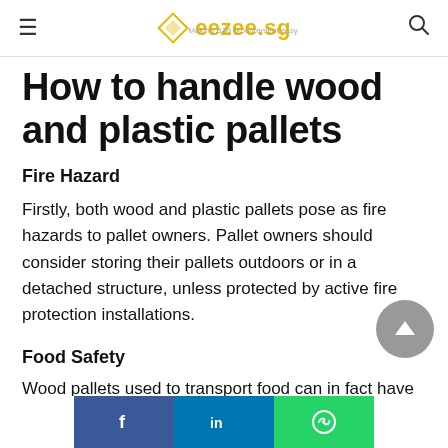eezee.sg — Making B2B procurement easy
How to handle wood and plastic pallets
Fire Hazard
Firstly, both wood and plastic pallets pose as fire hazards to pallet owners. Pallet owners should consider storing their pallets outdoors or in a detached structure, unless protected by active fire protection installations.
Food Safety
Wood pallets used to transport food can in fact have